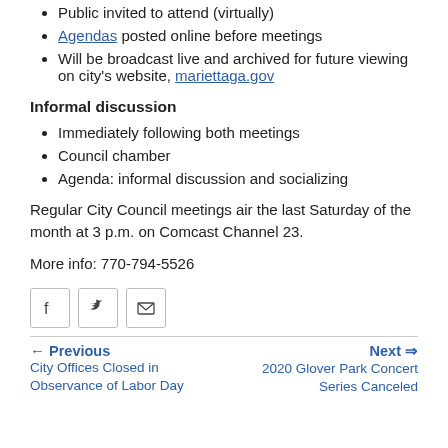Public invited to attend (virtually)
Agendas posted online before meetings
Will be broadcast live and archived for future viewing on city's website, mariettaga.gov
Informal discussion
Immediately following both meetings
Council chamber
Agenda: informal discussion and socializing
Regular City Council meetings air the last Saturday of the month at 3 p.m. on Comcast Channel 23.
More info: 770-794-5526
[Figure (other): Social share icons: Facebook, Twitter, Email]
Previous: City Offices Closed in Observance of Labor Day | Next: 2020 Glover Park Concert Series Canceled